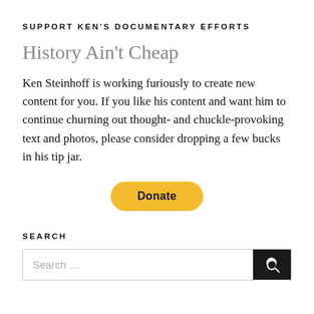SUPPORT KEN'S DOCUMENTARY EFFORTS
History Ain't Cheap
Ken Steinhoff is working furiously to create new content for you. If you like his content and want him to continue churning out thought- and chuckle-provoking text and photos, please consider dropping a few bucks in his tip jar.
[Figure (other): PayPal Donate button (yellow rounded rectangle with bold 'Donate' text)]
SEARCH
[Figure (other): Search input box with placeholder 'Search ...' and black search button with magnifying glass icon on the right]